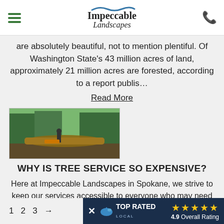Impeccable Landscapes (logo with hamburger menu and phone icon)
are absolutely beautiful, not to mention plentiful. Of Washington State's 43 million acres of land, approximately 21 million acres are forested, according to a report publis…
Read More
[Figure (photo): Photo of a fallen large tree being worked on by landscapers in a forested area]
WHY IS TREE SERVICE SO EXPENSIVE?
Here at Impeccable Landscapes in Spokane, we strive to keep our services accessible to everyone who may need them. We investigate market rates for our tree trimming, cutting, pruning, and removal services, as well as those of our competitors, and do our best to set prices that will allow us to take care of our employees and customers alike. In the interests of keeping things affordable, we regular…
Read More
1  2  3  →   TOP RATED LOCAL  4.9 Overall Rating (5 stars)